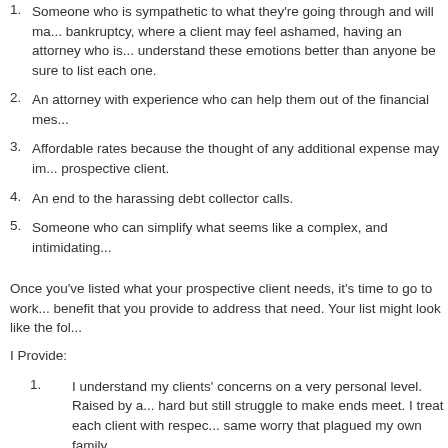1. Someone who is sympathetic to what they're going through and will ma... bankruptcy, where a client may feel ashamed, having an attorney who is... understand these emotions better than anyone be sure to list each one.
2. An attorney with experience who can help them out of the financial mes...
3. Affordable rates because the thought of any additional expense may im... prospective client.
4. An end to the harassing debt collector calls.
5. Someone who can simplify what seems like a complex, and intimidating...
Once you've listed what your prospective client needs, it's time to go to work... benefit that you provide to address that need. Your list might look like the fol...
I Provide:
1. I understand my clients' concerns on a very personal level. Raised by a... hard but still struggle to make ends meet. I treat each client with respec... same worry that plagued my own family.
2. I have worked exclusively in the area of bankruptcy and have helped 67... bankruptcy. I'm also a member of 2 different professional bankruptcy or...